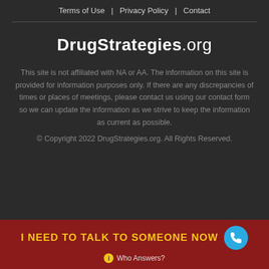Terms of Use  |  Privacy Policy  |  Contact
DrugStrategies.org
This site is not affiliated with NA or AA. The information on this site is provided for information purposes only. If there are any discrepancies of times or places of meetings, please contact us using our contact form so we can update the information as we strive to keep the information as current as possible.
© Copyright 2022 DrugStrategies.org. All Rights Reserved.
I NEED TO TALK TO SOMEONE NOW
Who Answers?